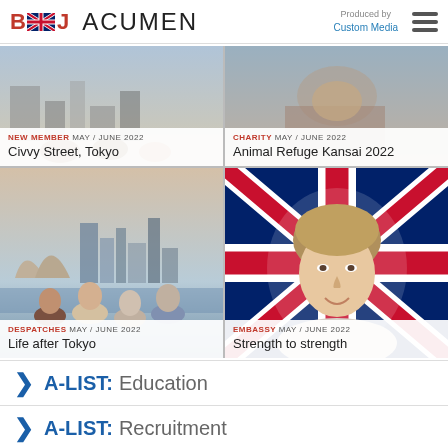BCCJ ACUMEN — Produced by Custom Media
[Figure (photo): NEW MEMBER card with photo — Civvy Street, Tokyo]
[Figure (photo): CHARITY card with photo — Animal Refuge Kansai 2022]
[Figure (photo): DESPATCHES card with group photo in Sydney — Life after Tokyo]
[Figure (photo): EMBASSY card with woman in front of Union Jack — Strength to strength]
A-LIST: Education
A-LIST: Recruitment